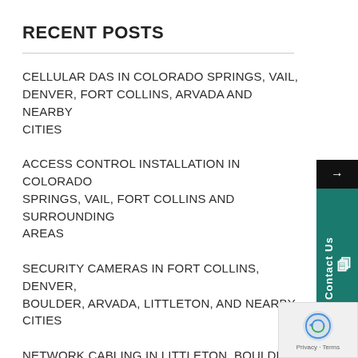RECENT POSTS
CELLULAR DAS IN COLORADO SPRINGS, VAIL, DENVER, FORT COLLINS, ARVADA AND NEARBY CITIES
ACCESS CONTROL INSTALLATION IN COLORADO SPRINGS, VAIL, FORT COLLINS AND SURROUNDING AREAS
SECURITY CAMERAS IN FORT COLLINS, DENVER, BOULDER, ARVADA, LITTLETON, AND NEARBY CITIES
NETWORK CABLING IN LITTLETON, BOULDER, DENVER, ARVADA, ENGLEWOOD, CO, AND SURROUNDING AREAS
NETWORK WIRING IN DENVER, BOULDER, LITTLETON, ARVADA, FORT COLLINS AND NEARBY